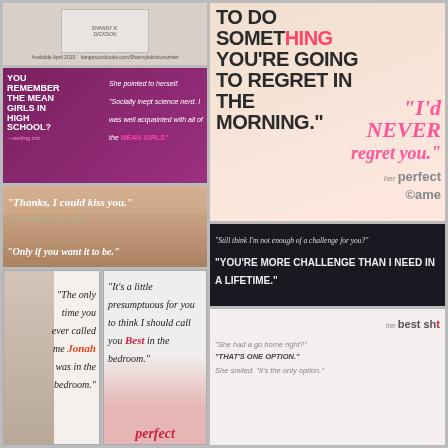[Figure (photo): Book cover for Shannon K. Dickson, available April 2015, with website URL]
[Figure (photo): Mean girls themed image with woman in glasses, text: 'You remember the mean girls in high school?' and 'She pointed to herself. Socially inept science nerd. I was well acquainted with all of the MEAN GIRLS']
[Figure (photo): Close-up kiss image with quotes: 'Thanks, I could kiss you.' 'Go ahead if you dare.' 'Only if you want it to be.']
[Figure (photo): Red-haired woman holding wine glass, large text: 'TO DO SOMETHING YOU'RE GOING TO REGRET IN THE MORNING.' and pink text: 'I'd NEVER regret you.' with 'her perfect game' branding]
[Figure (photo): Shirtless man with quote in cursive: 'The only time you ever called me Jonah was in the bedroom.']
[Figure (photo): Blonde woman in glasses and red dress with quote: 'It's a little presumptuous for you to think I should call you Best in the bedroom.' bottom shows 'perfect']
[Figure (photo): Pool/billiards scene with dark background, quote: 'Still think I'm not enough of a challenge for you?' and 'YOU'RE MORE CHALLENGE THAN I NEED IN A LIFETIME.']
[Figure (photo): Woman with red lips and 'her best shot' text, quotes: 'She had a go home right?' 'THAT'S ONE OPTION.' 'She smiled. It's the only option.']